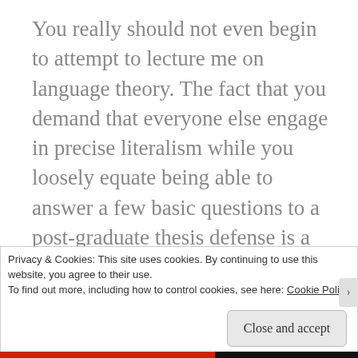You really should not even begin to attempt to lecture me on language theory. The fact that you demand that everyone else engage in precise literalism while you loosely equate being able to answer a few basic questions to a post-graduate thesis defense is a permanent disqualifier. Your inability to hold yourself to the same rules and standards that you demand of everyone else precludes any possibility of engaging in anything more serious than a juvenile verbal sparring match with you.
Privacy & Cookies: This site uses cookies. By continuing to use this website, you agree to their use.
To find out more, including how to control cookies, see here: Cookie Policy